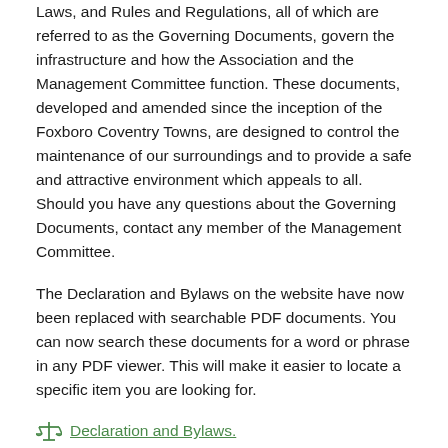Laws, and Rules and Regulations, all of which are referred to as the Governing Documents, govern the infrastructure and how the Association and the Management Committee function. These documents, developed and amended since the inception of the Foxboro Coventry Towns, are designed to control the maintenance of our surroundings and to provide a safe and attractive environment which appeals to all. Should you have any questions about the Governing Documents, contact any member of the Management Committee.
The Declaration and Bylaws on the website have now been replaced with searchable PDF documents. You can now search these documents for a word or phrase in any PDF viewer. This will make it easier to locate a specific item you are looking for.
Declaration and Bylaws.
First Amendment to the Declaration.
Second Amendment to the Declaration.
These documents more directly affect Foxboro Coventry